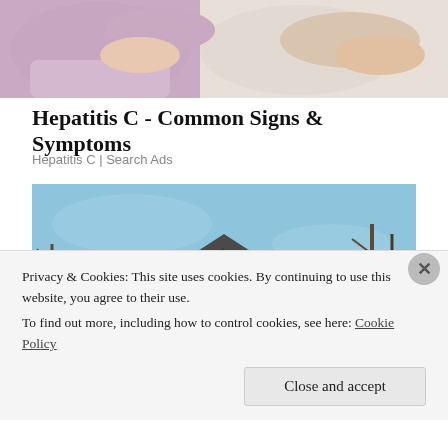[Figure (photo): Close-up photo of two people lying down, one in a purple/pink top, another in white, suggesting a medical or resting scenario]
Hepatitis C - Common Signs & Symptoms
Hepatitis C | Search Ads
[Figure (photo): Photograph of a wooden log cabin house with a steep dark roof, balcony, and decorative elements, set against a blue sky with bare trees]
Privacy & Cookies: This site uses cookies. By continuing to use this website, you agree to their use.
To find out more, including how to control cookies, see here: Cookie Policy
Close and accept